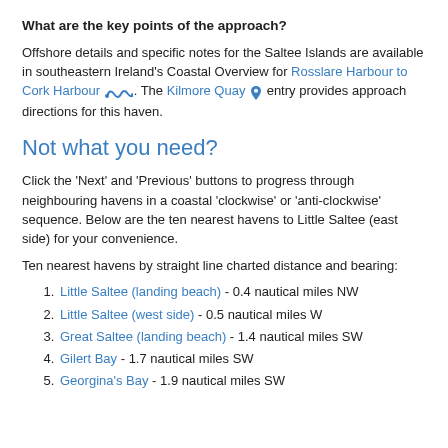What are the key points of the approach?
Offshore details and specific notes for the Saltee Islands are available in southeastern Ireland's Coastal Overview for Rosslare Harbour to Cork Harbour. The Kilmore Quay entry provides approach directions for this haven.
Not what you need?
Click the 'Next' and 'Previous' buttons to progress through neighbouring havens in a coastal 'clockwise' or 'anti-clockwise' sequence. Below are the ten nearest havens to Little Saltee (east side) for your convenience.
Ten nearest havens by straight line charted distance and bearing:
Little Saltee (landing beach) - 0.4 nautical miles NW
Little Saltee (west side) - 0.5 nautical miles W
Great Saltee (landing beach) - 1.4 nautical miles SW
Gilert Bay - 1.7 nautical miles SW
Georgina's Bay - 1.9 nautical miles SW